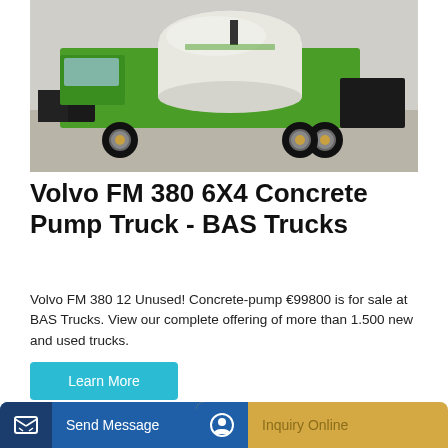[Figure (photo): Green concrete mixer truck (self-loading) photographed outdoors on gravel/dirt ground, with a white drum on top and construction equipment body.]
Volvo FM 380 6X4 Concrete Pump Truck - BAS Trucks
Volvo FM 380 12 Unused! Concrete-pump €99800 is for sale at BAS Trucks. View our complete offering of more than 1.500 new and used trucks.
Learn More
[Figure (screenshot): Bottom portion showing a yellow/gold background band and two action buttons: 'Send Message' (blue) on the left and 'Inquiry Online' (gold/tan) on the right, each with an icon box.]